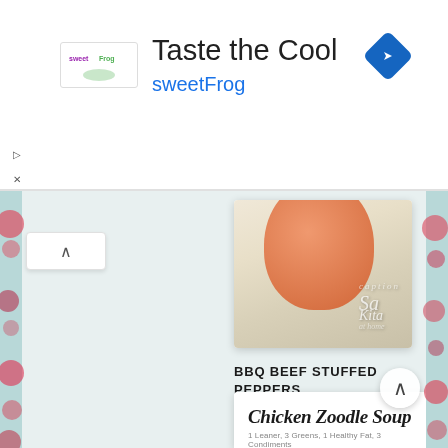[Figure (screenshot): SweetFrog advertisement banner with logo, headline 'Taste the Cool', brand name 'sweetFrog', and a blue navigation icon in top right]
Taste the Cool
sweetFrog
[Figure (photo): Partial food photo showing an orange/red stuffed pepper with watermark text on a light background]
BBQ BEEF STUFFED PEPPERS
[Figure (photo): Recipe card for Chicken Zoodle Soup showing zucchini noodle rings in broth in a white bowl, with subtitle '1 Leaner, 3 Greens, 1 Healthy Fat, 3 Condiments']
1 Leaner, 3 Greens, 1 Healthy Fat, 3 Condiments